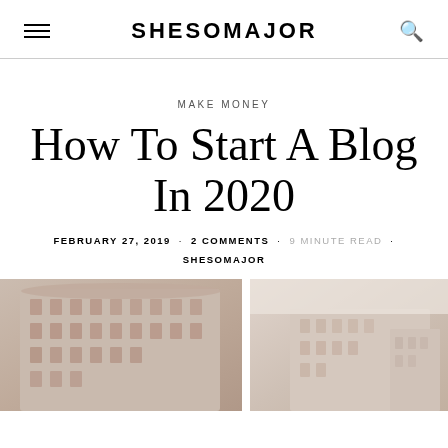SHESOMAJOR
MAKE MONEY
How To Start A Blog In 2020
FEBRUARY 27, 2019 · 2 COMMENTS · 9 MINUTE READ · SHESOMAJOR
[Figure (photo): Photo of urban buildings with beige/terracotta tones, split into two panels]